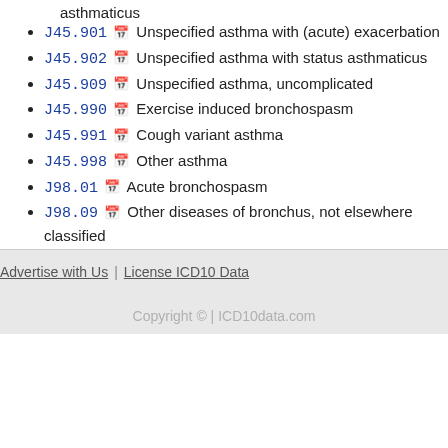asthmaticus
J45.901 Unspecified asthma with (acute) exacerbation
J45.902 Unspecified asthma with status asthmaticus
J45.909 Unspecified asthma, uncomplicated
J45.990 Exercise induced bronchospasm
J45.991 Cough variant asthma
J45.998 Other asthma
J98.01 Acute bronchospasm
J98.09 Other diseases of bronchus, not elsewhere classified
Advertise with Us | License ICD10 Data
Copyright © | ICD10data.com